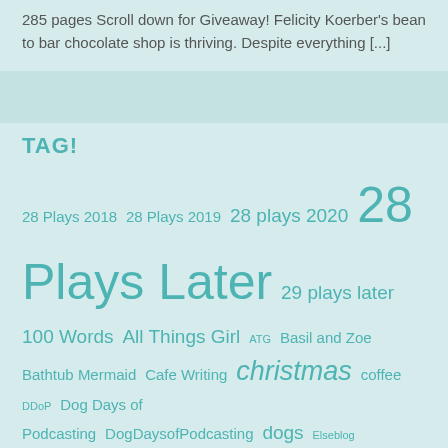285 pages Scroll down for Giveaway! Felicity Koerber's bean to bar chocolate shop is thriving. Despite everything [...]
TAG!
28 Plays 2018 28 Plays 2019 28 plays 2020 28 Plays Later 29 plays later 100 Words All Things Girl ATG Basil and Zoe Bathtub Mermaid Cafe Writing christmas coffee DDoP Dog Days of Podcasting DogDaysofPodcasting dogs Elseblog Flash-Fic Flash-fiction Flashfic FlashFiction Flash Prompt Holidailies Holidailies 2008 Holidailies 2013 Holidailies 2014 Holidailies 2015 Holidailies 2019 HorrorDailies Life With Dogs Like The Prose Like The Prose 2019 lists meme music nostalgia Poetry summer Sunday